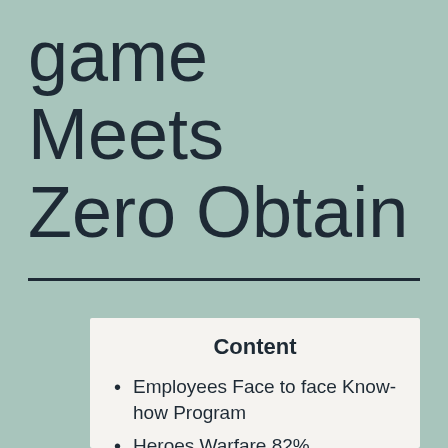game Meets Zero Obtain
Content
Employees Face to face Know-how Program
Heroes Warfare 82%
Madden 23 Very best